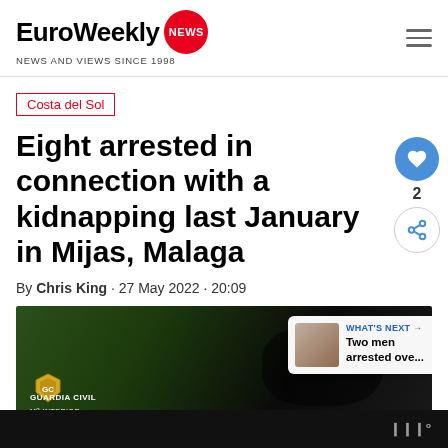EuroWeekly NEWS — NEWS AND VIEWS SINCE 1998
Costa del Sol
Eight arrested in connection with a kidnapping last January in Mijas, Malaga
By Chris King · 27 May 2022 · 20:09
[Figure (photo): Guardia Civil photo showing gloved hands at a table with GUARDIA CIVIL Mº INTERIOR logo overlay. Includes 'WHAT'S NEXT' sidebar with thumbnail and text 'Two men arrested ove...']